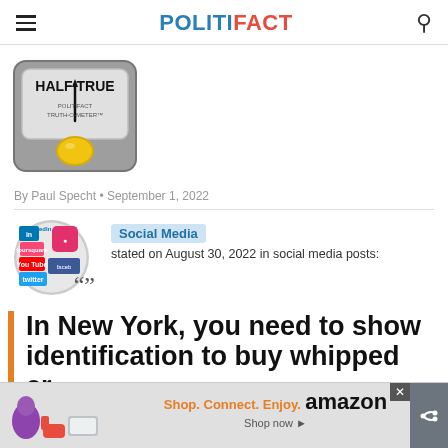POLITIFACT
[Figure (illustration): PolitiFact Truth-O-Meter showing HALF TRUE rating, gray meter device with yellow button]
By Paul Specht • September 1, 2022
[Figure (illustration): Social media logos collage circle icon with quote marks]
Social Media stated on August 30, 2022 in social media posts:
In New York, you need to show identification to buy whipped cr...